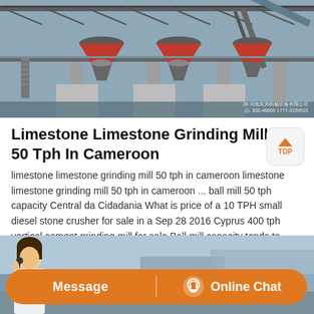[Figure (photo): Industrial limestone grinding mill facility with multiple cone crushers on elevated steel structure platform, conveyor belts, and concrete columns. Company watermark visible in bottom right corner.]
Limestone Limestone Grinding Mill 50 Tph In Cameroon
limestone limestone grinding mill 50 tph in cameroon limestone limestone grinding mill 50 tph in cameroon ... ball mill 50 tph capacity Central da Cidadania What is price of a 10 TPH small diesel stone crusher for sale in a Sep 28 2016 Cyprus 400 tph vertical cement grinding mill for sale Ball mill capacity tends to increase with larger ...
[Figure (photo): Bottom section showing a person (customer service representative) with a headset, and an orange rounded bar with Message and Online Chat buttons.]